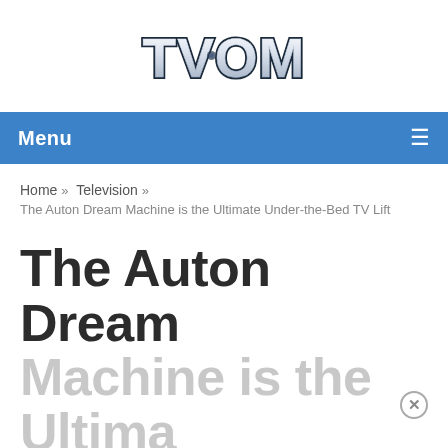[Figure (logo): TVOM logo — chrome-style metallic lettering with dark outline on white background]
Menu
Home » Television »
The Auton Dream Machine is the Ultimate Under-the-Bed TV Lift
The Auton Dream Machine is the Ultimate Under-the-Bed TV Lift